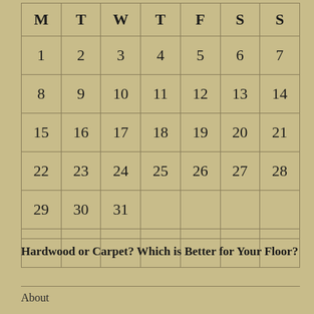| M | T | W | T | F | S | S |
| --- | --- | --- | --- | --- | --- | --- |
| 1 | 2 | 3 | 4 | 5 | 6 | 7 |
| 8 | 9 | 10 | 11 | 12 | 13 | 14 |
| 15 | 16 | 17 | 18 | 19 | 20 | 21 |
| 22 | 23 | 24 | 25 | 26 | 27 | 28 |
| 29 | 30 | 31 |  |  |  |  |
|  |  |  |  |  |  |  |
Hardwood or Carpet? Which is Better for Your Floor?
About